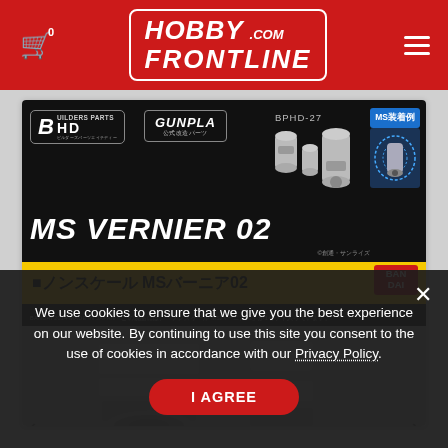Hobby Frontline .com — website header with cart icon and navigation
[Figure (photo): Bandai Builders Parts HD MS Vernier 02 (BPHD-27) product listing page showing product box art with grey MS vernier thruster parts on a hobby/collectibles e-commerce site (hobbyfrontline.com). The box art shows various grey cylindrical thruster/vernier parts against dark background with Gunpla branding, MS装着例 inset, yellow Japanese text banner reading ノンスケール MSバーニア02, Bandai logo. Below is a photo of the actual grey plastic parts.]
We use cookies to ensure that we give you the best experience on our website. By continuing to use this site you consent to the use of cookies in accordance with our Privacy Policy.
I AGREE